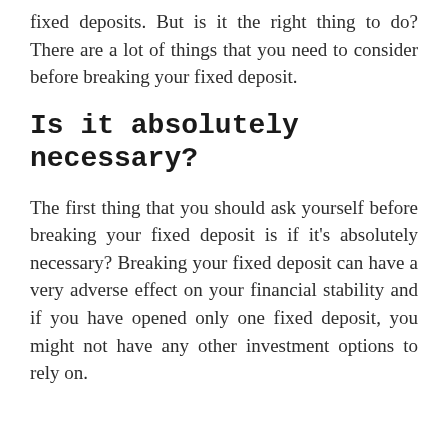fixed deposits. But is it the right thing to do? There are a lot of things that you need to consider before breaking your fixed deposit.
Is it absolutely necessary?
The first thing that you should ask yourself before breaking your fixed deposit is if it's absolutely necessary? Breaking your fixed deposit can have a very adverse effect on your financial stability and if you have opened only one fixed deposit, you might not have any other investment options to rely on.